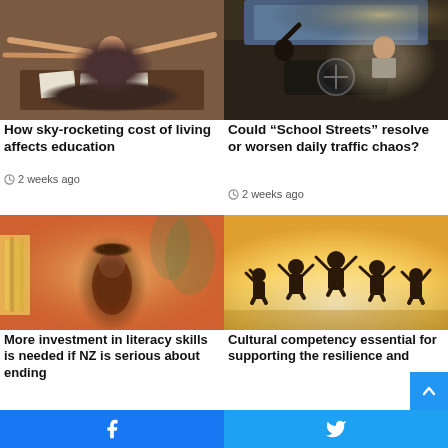[Figure (photo): Person stressed at desk with papers, others pointing fingers at them]
How sky-rocketing cost of living affects education
2 weeks ago
[Figure (photo): View from backseat of car, child with raised hand, driver at wheel in traffic]
Could “School Streets” resolve or worsen daily traffic chaos?
2 weeks ago
[Figure (photo): Graduate in cap and gown among blurry background of books and plants]
More investment in literacy skills is needed if NZ is serious about ending
[Figure (photo): Silhouettes of children jumping with arms raised against warm golden background]
Cultural competency essential for supporting the resilience and wellbeing of children